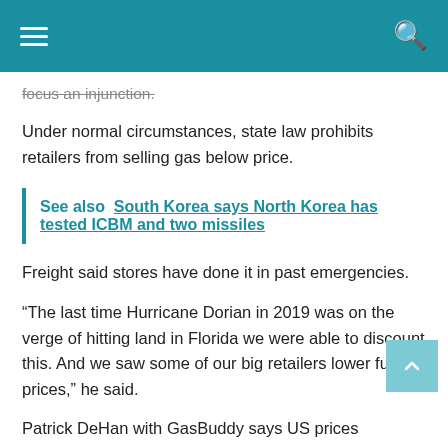focus an injunction.
Under normal circumstances, state law prohibits retailers from selling gas below price.
See also  South Korea says North Korea has tested ICBM and two missiles
Freight said stores have done it in past emergencies.
“The last time Hurricane Dorian in 2019 was on the verge of hitting land in Florida we were able to discount this. And we saw some of our big retailers lower fuel prices,” he said.
Patrick DeHan with GasBuddy says US prices are now lower than many countries.
“It sounds awful when we talk about record prices, but even in the north, our Canadian neighbors pay about $ 7